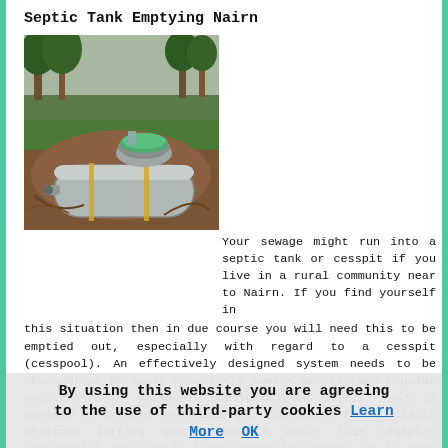Septic Tank Emptying Nairn
[Figure (photo): A large grey septic tank being installed in a rural outdoor area, partially buried in soil, with a round access port with a green lid visible on top and pine trees in the background.]
Your sewage might run into a septic tank or cesspit if you live in a rural community near to Nairn. If you find yourself in this situation then in due course you will need this to be emptied out, especially with regard to a cesspit (cesspool). An effectively designed system needs to be checked out at least once every twelve months, and regular maintenance of cesspools (cesspits) and septic tanks is advised to prevent overflows and blockages. The specially designed lorries which suck up waste from cesspits (cesspools) and septic tanks generally handle up to 3000 gallons and they will correctly and safely dispose of this
By using this website you are agreeing to the use of third-party cookies Learn More  OK